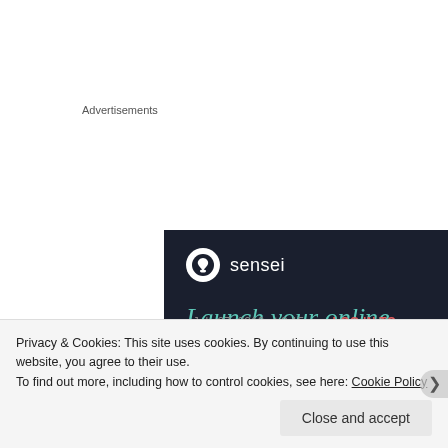Advertisements
[Figure (screenshot): Sensei advertisement banner with dark navy background. Shows Sensei logo (tree icon in white circle) with brand name 'sensei', and teal italic text reading 'Launch your online course with WordPress' (partially visible).]
KOOLKOSHERKITCHEN   July 27, 2016 at 8:15 PM   LOG IN TO REPLY
Thank you for visiting my blog and for the like. I
Privacy & Cookies: This site uses cookies. By continuing to use this website, you agree to their use.
To find out more, including how to control cookies, see here: Cookie Policy
Close and accept